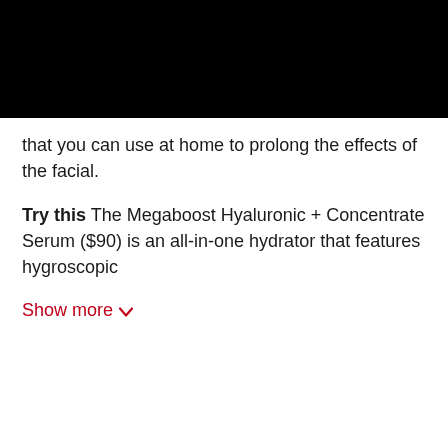[Figure (other): Black banner/header bar at top of page]
that you can use at home to prolong the effects of the facial.
Try this The Megaboost Hyaluronic + Concentrate Serum ($90) is an all-in-one hydrator that features hygroscopic
Show more ∨